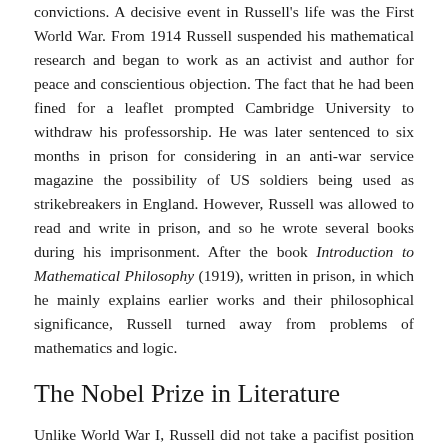convictions. A decisive event in Russell's life was the First World War. From 1914 Russell suspended his mathematical research and began to work as an activist and author for peace and conscientious objection. The fact that he had been fined for a leaflet prompted Cambridge University to withdraw his professorship. He was later sentenced to six months in prison for considering in an anti-war service magazine the possibility of US soldiers being used as strikebreakers in England. However, Russell was allowed to read and write in prison, and so he wrote several books during his imprisonment. After the book Introduction to Mathematical Philosophy (1919), written in prison, in which he mainly explains earlier works and their philosophical significance, Russell turned away from problems of mathematics and logic.
The Nobel Prize in Literature
Unlike World War I, Russell did not take a pacifist position in World War II. Shortly after the end of the war he even spoke out in favour of a preventive war against the Soviet Union, which did